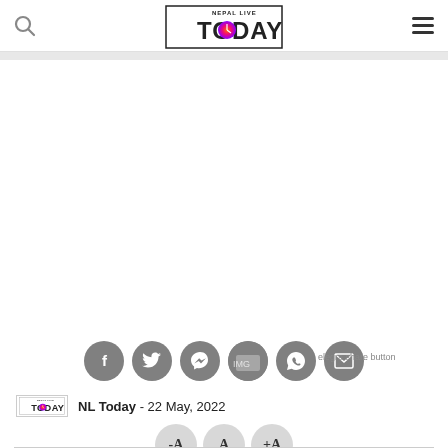Nepal Live Today — header with search icon, logo, and menu icon
[Figure (logo): Nepal Live Today logo — bordered rectangle with stylized clock face and text NEPAL LIVE TODAY]
[Figure (infographic): Social share buttons row: Facebook, Twitter, Messenger, Telegram, WhatsApp, Email — gray circle icons]
Telegram share button
NL Today - 22 May, 2022
[Figure (infographic): Font size controls: -A, A, +A buttons as gray circles]